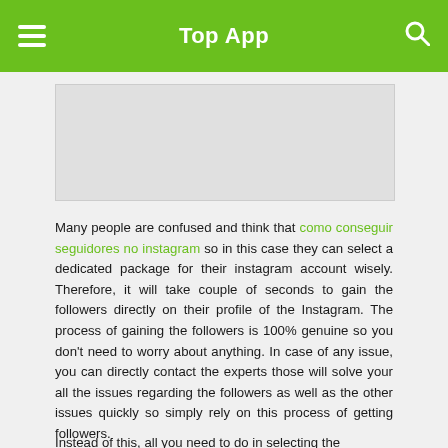Top App
[Figure (other): Advertisement banner placeholder, grey rectangle]
Many people are confused and think that como conseguir seguidores no instagram so in this case they can select a dedicated package for their instagram account wisely. Therefore, it will take couple of seconds to gain the followers directly on their profile of the Instagram. The process of gaining the followers is 100% genuine so you don't need to worry about anything. In case of any issue, you can directly contact the experts those will solve your all the issues regarding the followers as well as the other issues quickly so simply rely on this process of getting followers.
Instead of this, all you need to do in selecting the